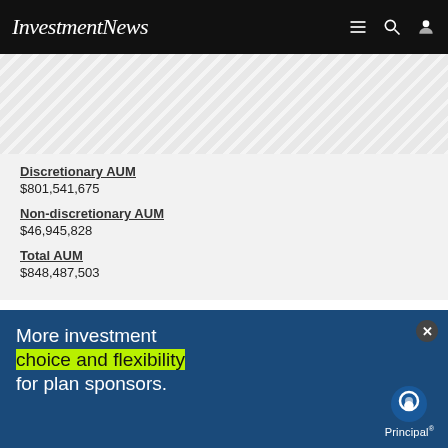InvestmentNews
Discretionary AUM
$801,541,675
Non-discretionary AUM
$46,945,828
Total AUM
$848,487,503
Rank
15
Business Name
[Figure (infographic): Blue advertisement overlay for Principal. Text reads: 'More investment choice and flexibility for plan sponsors.' The phrase 'choice and flexibility' is highlighted in yellow-green. Principal logo appears in the bottom right corner.]